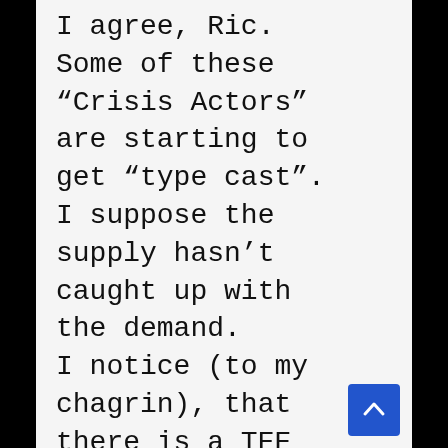I agree, Ric. Some of these “Crisis Actors” are starting to get “type cast”. I suppose the supply hasn’t caught up with the demand. I notice (to my chagrin), that there is a TEE VEE station that plays “Ancient Aliens” pretty